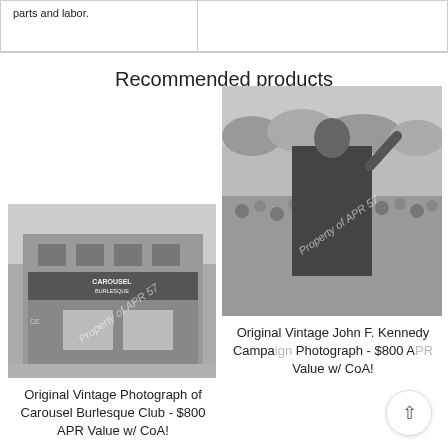| parts and labor. |  |
Recommended products
[Figure (photo): Black and white vintage photograph of Carousel Burlesque Club exterior storefront with watermark 'Property of APR 57']
Original Vintage Photograph of Carousel Burlesque Club - $800 APR Value w/ CoA!
$ 295.00
[Figure (photo): Black and white vintage photograph of John F. Kennedy at campaign rally, back view with crowd, watermark 'Property of APR 57']
Original Vintage John F. Kennedy Campaign Photograph - $800 APR Value w/ CoA!